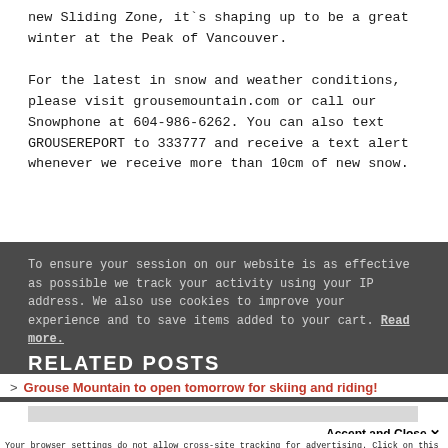new Sliding Zone, it`s shaping up to be a great winter at the Peak of Vancouver.
For the latest in snow and weather conditions, please visit grousemountain.com or call our Snowphone at 604-986-6262. You can also text GROUSEREPORT to 333777 and receive a text alert whenever we receive more than 10cm of new snow.
To ensure your session on our website is as effective as possible we track your activity using your IP address. We also use cookies to improve your experience and to save items added to your cart. Read more.
RELATED POSTS
Grouse Mountain to open tomorrow for skiing and riding!
Accept and Close ×
Your browser settings do not allow cross-site tracking for advertising. Click on this page to allow AdRoll to use cross-site tracking to tailor ads to you. Learn more or opt out of this AdRoll tracking by clicking here. This message only appears once.